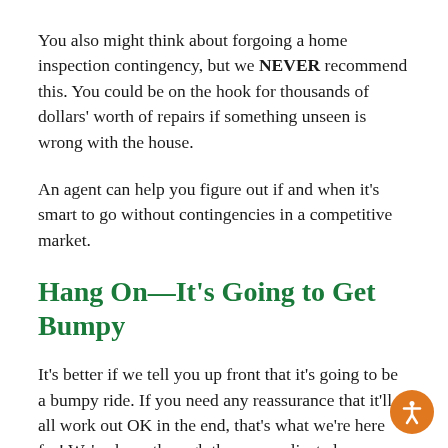You also might think about forgoing a home inspection contingency, but we NEVER recommend this. You could be on the hook for thousands of dollars' worth of repairs if something unseen is wrong with the house.
An agent can help you figure out if and when it's smart to go without contingencies in a competitive market.
Hang On—It's Going to Get Bumpy
It's better if we tell you up front that it's going to be a bumpy ride. If you need any reassurance that it'll all work out OK in the end, that's what we're here for! We've been through these complicated transactions many times, and we'll do everything we can to help